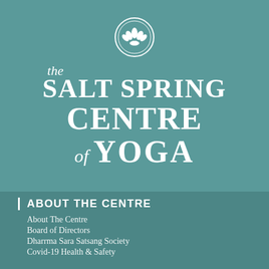[Figure (logo): The Salt Spring Centre of Yoga logo: oval lotus emblem above calligraphic white text reading 'the SALT SPRING CENTRE of YOGA' on teal background]
ABOUT THE CENTRE
About The Centre
Board of Directors
Dharrma Sara Satsang Society
Covid-19 Health & Safety